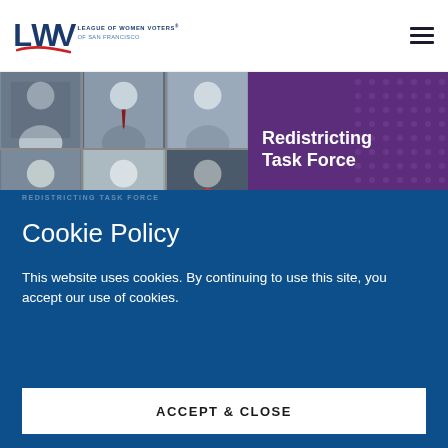League of Women Voters of San Francisco
[Figure (photo): Banner image showing a grid of diverse people's headshots on the left, and a purple panel on the right with 'Redistricting Task Force' text and a dot pattern background.]
REDISTRICTING TASK FORCE
Cookie Policy
This website uses cookies. By continuing to use this site, you accept our use of cookies.
ACCEPT & CLOSE